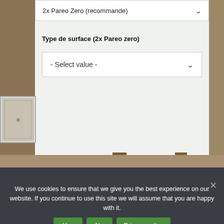2x Pareo Zero (recommande)
Type de surface (2x Pareo zero)
- Select value -
We use cookies to ensure that we give you the best experience on our website. If you continue to use this site we will assume that you are happy with it.
Yes
No
Privacy policy